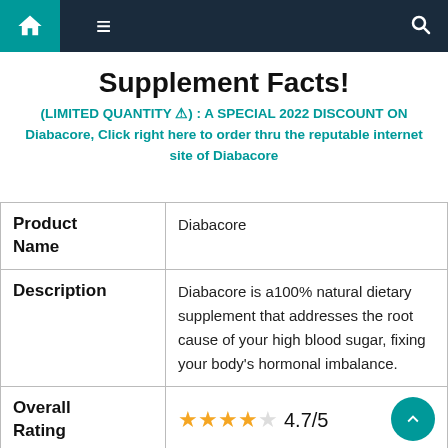Navigation bar with home, menu, and search icons
Supplement Facts!
(LIMITED QUANTITY ⚠) : A SPECIAL 2022 DISCOUNT ON Diabacore, Click right here to order thru the reputable internet site of Diabacore
|  |  |
| --- | --- |
| Product Name | Diabacore |
| Description | Diabacore is a100% natural dietary supplement that addresses the root cause of your high blood sugar, fixing your body's hormonal imbalance. |
| Overall Rating | ★★★★☆ 4.7/5 |